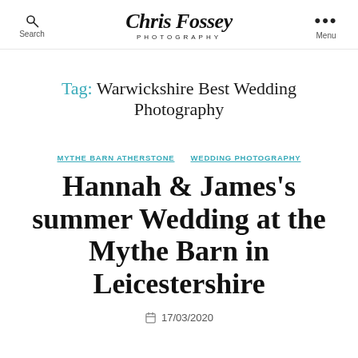Chris Fossey Photography — Search | Menu
Tag: Warwickshire Best Wedding Photography
MYTHE BARN ATHERSTONE   WEDDING PHOTOGRAPHY
Hannah & James's summer Wedding at the Mythe Barn in Leicestershire
17/03/2020